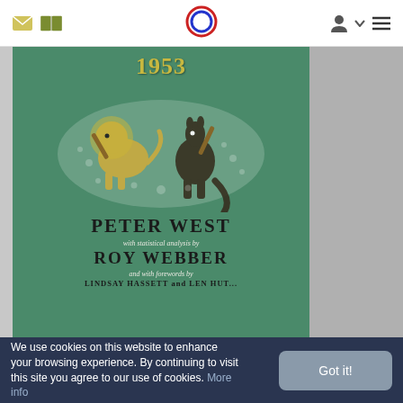[Figure (screenshot): Website navigation bar with envelope icon, open book icon on left; circular logo (red and blue outline) centered; person icon with dropdown chevron and hamburger menu on right.]
[Figure (photo): Book cover on teal/green background showing '1953' in gold text at top, illustration of a lion and kangaroo playing cricket in white stipple style, bold text 'PETER WEST', italic text 'with statistical analysis by', bold text 'ROY WEBBER', italic text 'and with forewords by', bold text 'LINDSAY HASSETT and LEN HUT[T]'.]
We use cookies on this website to enhance your browsing experience. By continuing to visit this site you agree to our use of cookies. More info